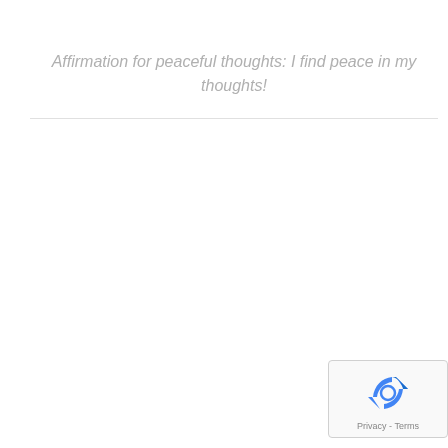Affirmation for peaceful thoughts: I find peace in my thoughts!
[Figure (logo): reCAPTCHA badge with recycling arrow logo and Privacy - Terms links]